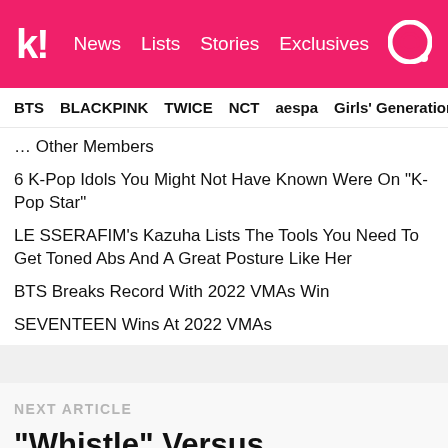k! News Lists Stories Exclusives
BTS BLACKPINK TWICE NCT aespa Girls' Generation
… Other Members
6 K-Pop Idols You Might Not Have Known Were On "K-Pop Star"
LE SSERAFIM's Kazuha Lists The Tools You Need To Get Toned Abs And A Great Posture Like Her
BTS Breaks Record With 2022 VMAs Win
SEVENTEEN Wins At 2022 VMAs
NEXT ARTICLE
“Whistle” Versus “BOOMBAYAH”: BLACKPINK’s